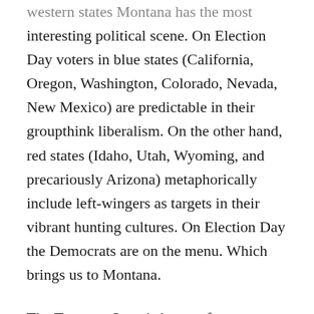western states Montana has the most interesting political scene. On Election Day voters in blue states (California, Oregon, Washington, Colorado, Nevada, New Mexico) are predictable in their groupthink liberalism. On the other hand, red states (Idaho, Utah, Wyoming, and precariously Arizona) metaphorically include left-wingers as targets in their vibrant hunting cultures. On Election Day the Democrats are on the menu. Which brings us to Montana.
The Treasure State is known for a conservative farm and ranch base and an old progressive union sector (mining in Butte) that has seen better days but is buttressed by liberal newcomers to the state,